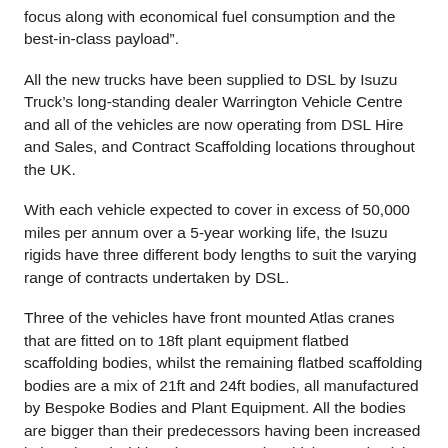focus along with economical fuel consumption and the best-in-class payload".
All the new trucks have been supplied to DSL by Isuzu Truck's long-standing dealer Warrington Vehicle Centre and all of the vehicles are now operating from DSL Hire and Sales, and Contract Scaffolding locations throughout the UK.
With each vehicle expected to cover in excess of 50,000 miles per annum over a 5-year working life, the Isuzu rigids have three different body lengths to suit the varying range of contracts undertaken by DSL.
Three of the vehicles have front mounted Atlas cranes that are fitted on to 18ft plant equipment flatbed scaffolding bodies, whilst the remaining flatbed scaffolding bodies are a mix of 21ft and 24ft bodies, all manufactured by Bespoke Bodies and Plant Equipment. All the bodies are bigger than their predecessors having been increased in length and width to increase each vehicle's productivity.
The bodies also feature a rear ladder to facilitate easier personnel access to the truck bed, as well as a single step